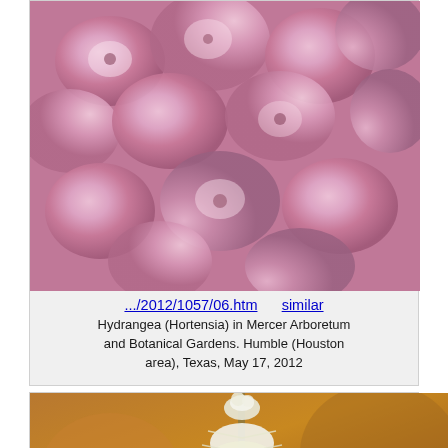[Figure (photo): Close-up photograph of pink Hydrangea (Hortensia) flowers in Mercer Arboretum and Botanical Gardens]
.../2012/1057/06.htm    similar
Hydrangea (Hortensia) in Mercer Arboretum and Botanical Gardens. Humble (Houston area), Texas, May 17, 2012
[Figure (photo): Close-up photograph of a white bottlebrush-like flower spike, possibly Cimicifuga or similar plant, with blurred orange/brown background]